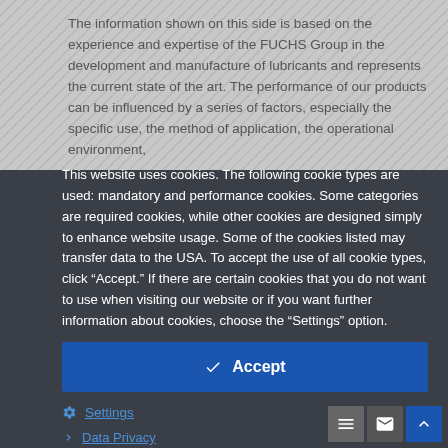The information shown on this side is based on the experience and expertise of the FUCHS Group in the development and manufacture of lubricants and represents the current state of the art. The performance of our products can be influenced by a series of factors, especially the specific use, the method of application, the operational environment,
This website uses cookies. The following cookie types are used: mandatory and performance cookies. Some categories are required cookies, while other cookies are designed simply to enhance website usage. Some of the cookies listed may transfer data to the USA. To accept the use of all cookie types, click "Accept." If there are certain cookies that you do not want to use when visiting our website or if you want further information about cookies, choose the "Settings" option.
Accept
Settings
Data Privacy
Cookie Policy